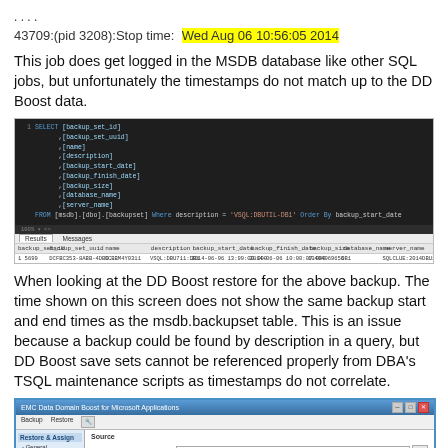....
43709:(pid 3208):Stop time:  Wed Aug 06 10:56:05 2014
This job does get logged in the MSDB database like other SQL jobs, but unfortunately the timestamps do not match up to the DD Boost data.
[Figure (screenshot): SQL query screenshot showing SELECT statement on backup set with results table showing one row of backup data]
When looking at the DD Boost restore for the above backup. The time shown on this screen does not show the same backup start and end times as the msdb.backupset table. This is an issue because a backup could be found by description in a query, but DD Boost save sets cannot be referenced properly from DBA's TSQL maintenance scripts as timestamps do not correlate.
[Figure (screenshot): EMC Data Domain Boost for Microsoft Applications dialog window showing Restore options with source, SQL Server Instance, and Database fields]